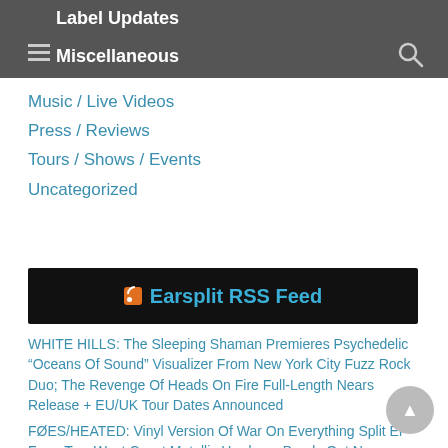Label Updates
Miscellaneous
Music / Live Videos
Press / Reviews
Tours / Shows / Events
Uncategorized
Earsplit RSS Feed
WHITE HILLS: The Sleeping Shaman Premieres Psychedelic “Oceans Of Sound” Visualizer From New York City Fuzz Rock Duo; The Revenge Of Heads On Fire Full-Length Nears Release + EU/UK Tour Dates Announced
FØES/HEATED: Vinyl Version Of War On Everything Split EP From Two West Coast Metallic Hardcore Bands Out Now Through Glacier Recordings; New Lyric Videos Posted